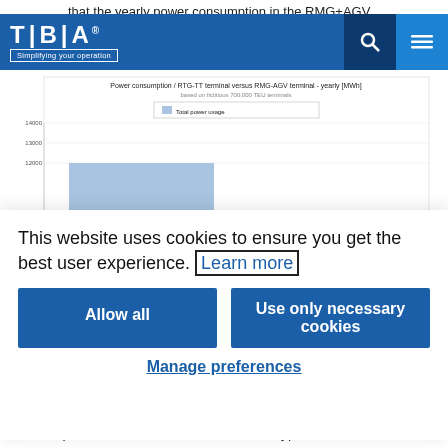that the yearly power consumption in the RMG+AGV
[Figure (bar-chart): Power consumption / RTG-TT terminal versus RMG-AGV terminal - yearly [MWh]]
This website uses cookies to ensure you get the best user experience. Learn more
Allow all
Use only necessary cookies
Manage preferences
The comparison between different terminal types is useful